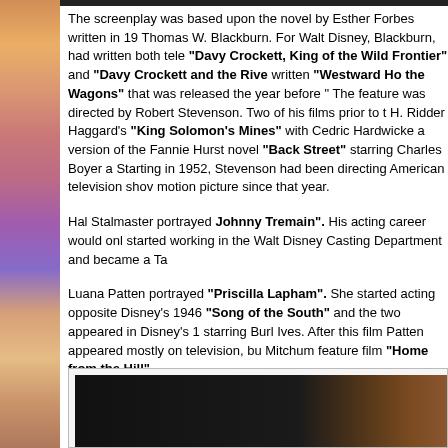The screenplay was based upon the novel by Esther Forbes written in 19... Thomas W. Blackburn. For Walt Disney, Blackburn, had written both tele... "Davy Crockett, King of the Wild Frontier" and "Davy Crockett and the Riv... written "Westward Ho the Wagons" that was released the year before "... The feature was directed by Robert Stevenson. Two of his films prior to t... H. Ridder Haggard's "King Solomon's Mines" with Cedric Hardwicke a... version of the Fannie Hurst novel "Back Street" starring Charles Boyer a... Starting in 1952, Stevenson had been directing American television sho... motion picture since that year.
Hal Stalmaster portrayed Johnny Tremain". His acting career would onl... started working in the Walt Disney Casting Department and became a Ta...
Luana Patten portrayed "Priscilla Lapham". She started acting opposite... Disney's 1946 "Song of the South" and the two appeared in Disney's 1... starring Burl Ives. After this film Patten appeared mostly on television, bu... Mitchum feature film "Home from the Hill".
[Figure (photo): Dark photograph at the bottom of the page, partially visible, showing what appears to be a dark scene with some wooden or brown elements visible on the right side.]